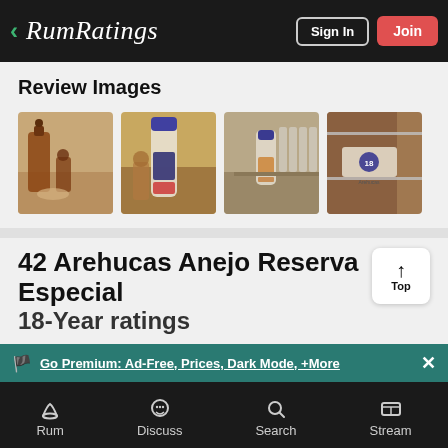RumRatings — Sign In | Join
Review Images
[Figure (photo): Four thumbnail photos of Arehucas Anejo Reserva Especial 18-Year rum bottles]
42 Arehucas Anejo Reserva Especial
18-Year ratings
Go Premium: Ad-Free, Prices, Dark Mode, +More
Rum | Discuss | Search | Stream